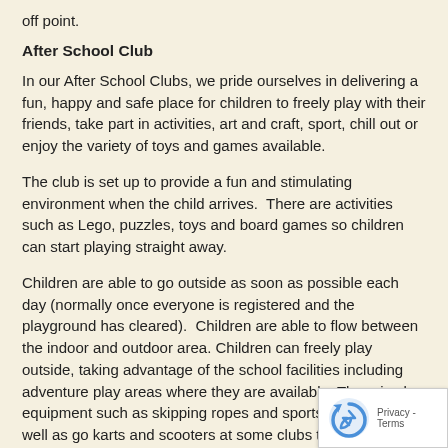off point.
After School Club
In our After School Clubs, we pride ourselves in delivering a fun, happy and safe place for children to freely play with their friends, take part in activities, art and craft, sport, chill out or enjoy the variety of toys and games available.
The club is set up to provide a fun and stimulating environment when the child arrives.  There are activities such as Lego, puzzles, toys and board games so children can start playing straight away.
Children are able to go outside as soon as possible each day (normally once everyone is registered and the playground has cleared).  Children are able to flow between the indoor and outdoor area. Children can freely play outside, taking advantage of the school facilities including adventure play areas where they are available. There is also equipment such as skipping ropes and sports equipment, as well as go karts and scooters at some clubs too.
Key Stage 1 children are collected or dropped to a design meeting point while Key Stage 2 make their own way to th Parents can pick up at any time up until 6:00pm.  All children